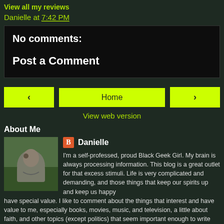View all my reviews
Danielle at 7:42 PM
No comments:
Post a Comment
‹ Home › View web version
About Me
Danielle
I'm a self-professed, proud Black Geek Girl. My brain is always processing information. This blog is a great outlet for that excess stimuli. Life is very complicated and demanding, and those things that keep our spirits up and keep us happy have special value. I like to comment about the things that interest and have value to me, especially books, movies, music, and television, a little about faith, and other topics (except politics) that seem important enough to write about here! That way I can at least say that even though nobody listens...